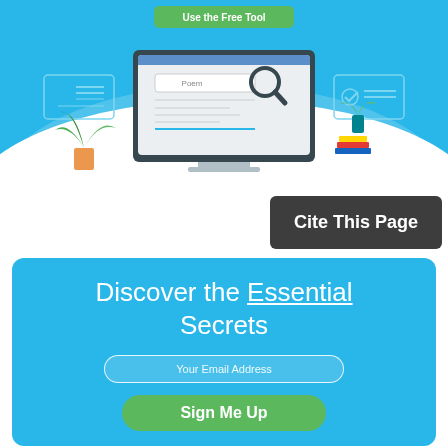[Figure (illustration): A blue-background illustration showing a desktop computer monitor with a search bar labeled 'Poem' and a magnifying glass icon, flanked by two smaller UI widget icons and potted plants with stacked books. A green 'Use the Free Tool' button appears at the top.]
Cite This Page
Discover the Essential Secrets
Your Email Address
Sign Me Up